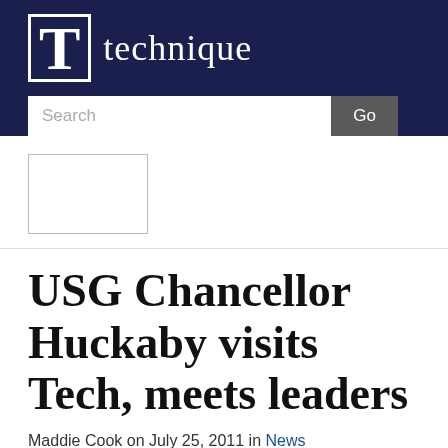T technique
[Figure (other): Search bar with text input and Go button on dark navy background]
[Figure (other): Small rectangular advertisement placeholder with border]
USG Chancellor Huckaby visits Tech, meets leaders
Maddie Cook on July 25, 2011 in News